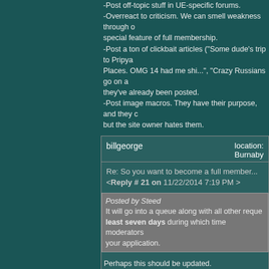-Post off-topic stuff in UE-specific forums. -Overreact to criticism. We can smell weakness through our screens, it's a special feature of full membership. -Post a ton of clickbait articles ("Some dude's trip to Pripyat... 14 Abandoned Places. OMG 14 had me shi...", "Crazy Russians go on an...") especially if they've already been posted. -Post image macros. They have their purpose, and they can be funny, but the site owner hates them.
billgeorge
location: Burnaby
Re: So you want to become a full member...
<Reply # 21 on 11/22/2014 7:19 PM >
Posted by Steed It will go into a queue along with all other requests. This takes at least seven days during which time moderators will look through your application.
Perhaps this should be updated.

When I first nominated myself for membership (at 3 months), I waited a month before asking for an update. I was told that the process takes 3-6 months. A few days later, I was turned down. (The only reason given when asked, was basically, "You haven't been around long enough.")

Now someone else recommended me for membership 3 months ago, and other full members have also recommended me. In any case, since joining the site, I have been waiting 4 of those months to hear if I will still waiting...